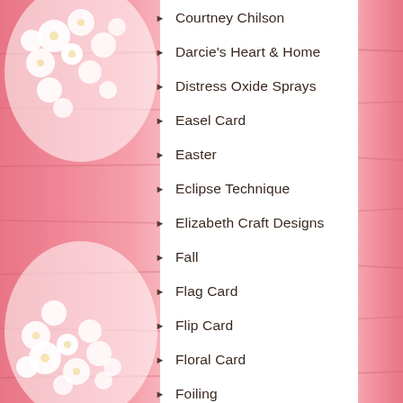Courtney Chilson
Darcie's Heart & Home
Distress Oxide Sprays
Easel Card
Easter
Eclipse Technique
Elizabeth Craft Designs
Fall
Flag Card
Flip Card
Floral Card
Foiling
Friendship